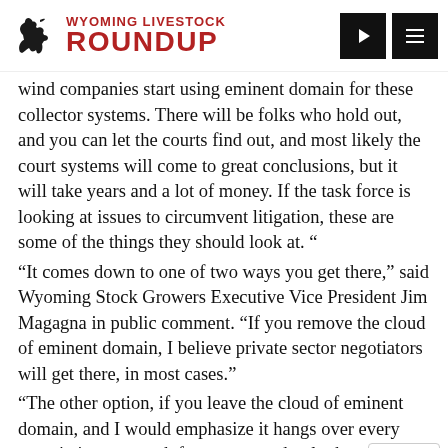Wyoming Livestock Roundup
wind companies start using eminent domain for these collector systems. There will be folks who hold out, and you can let the courts find out, and most likely the court systems will come to great conclusions, but it will take years and a lot of money. If the task force is looking at issues to circumvent litigation, these are some of the things they should look at. “
“It comes down to one of two ways you get there,” said Wyoming Stock Growers Executive Vice President Jim Magagna in public comment. “If you remove the cloud of eminent domain, I believe private sector negotiators will get there, in most cases.”
“The other option, if you leave the cloud of eminent domain, and I would emphasize it hangs over every negotiation, as a task force you need to look at mandating many of those things through statute.”